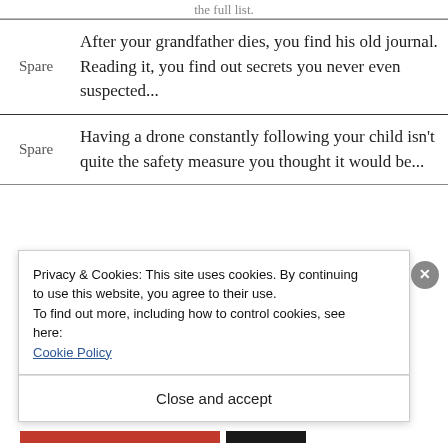the full list.
|  |  |
| --- | --- |
| Spare | After your grandfather dies, you find his old journal. Reading it, you find out secrets you never even suspected... |
| Spare | Having a drone constantly following your child isn't quite the safety measure you thought it would be... |
Privacy & Cookies: This site uses cookies. By continuing to use this website, you agree to their use.
To find out more, including how to control cookies, see here:
Cookie Policy
Close and accept